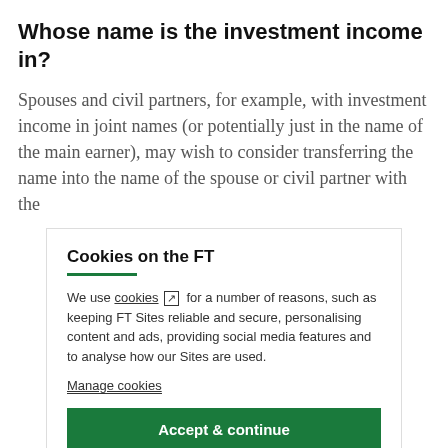Whose name is the investment income in?
Spouses and civil partners, for example, with investment income in joint names (or potentially just in the name of the main earner), may wish to consider transferring the name into the name of the spouse or civil partner with the
Cookies on the FT
We use cookies ⧉ for a number of reasons, such as keeping FT Sites reliable and secure, personalising content and ads, providing social media features and to analyse how our Sites are used.
Manage cookies
Accept & continue